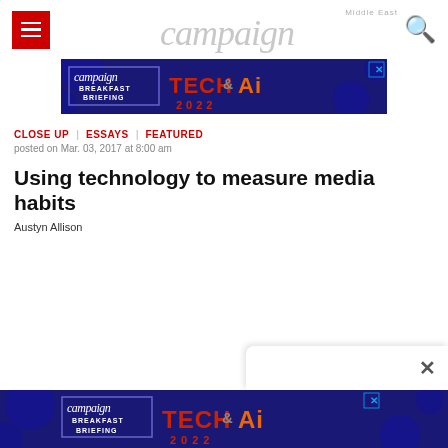[Figure (logo): Campaign Middle East logo in grey italic serif font with hamburger menu icon on left and search icon on right]
[Figure (screenshot): Campaign Breakfast Briefing Tech & AI 2022 advertisement banner on dark blue background]
CLOSE UP | ESSAYS | FEATURED
posted on Mar. 03, 2017 at 8:00 am
Using technology to measure media habits
Austyn Allison
[Figure (screenshot): Campaign Breakfast Briefing Tech & AI 2022 advertisement banner at bottom of page with X close button overlay]